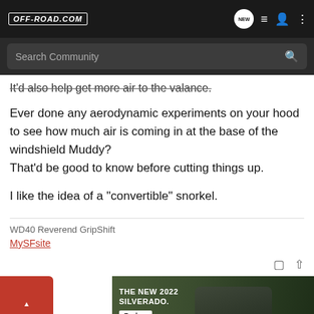OFF-ROAD.COM
Search Community
It'd also help get more air to the valance.
Ever done any aerodynamic experiments on your hood to see how much air is coming in at the base of the windshield Muddy?
That'd be good to know before cutting things up.

I like the idea of a "convertible" snorkel.
WD40 Reverend GripShift
MySFsite
[Figure (screenshot): Chevrolet Silverado 2022 advertisement banner showing a truck in a forest setting with THE NEW 2022 SILVERADO. text and Explore button]